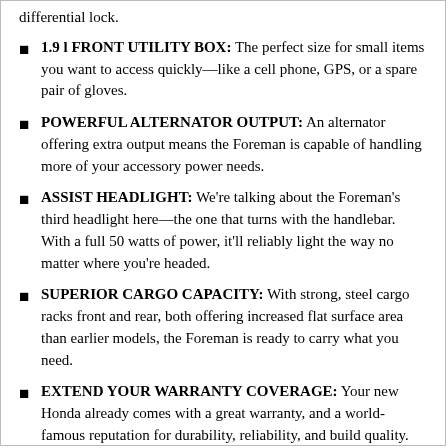differential lock.
1.9 l FRONT UTILITY BOX: The perfect size for small items you want to access quickly—like a cell phone, GPS, or a spare pair of gloves.
POWERFUL ALTERNATOR OUTPUT: An alternator offering extra output means the Foreman is capable of handling more of your accessory power needs.
ASSIST HEADLIGHT: We're talking about the Foreman's third headlight here—the one that turns with the handlebar. With a full 50 watts of power, it'll reliably light the way no matter where you're headed.
SUPERIOR CARGO CAPACITY: With strong, steel cargo racks front and rear, both offering increased flat surface area than earlier models, the Foreman is ready to carry what you need.
EXTEND YOUR WARRANTY COVERAGE: Your new Honda already comes with a great warranty, and a world-famous reputation for durability, reliability, and build quality. But if you'd like to extend your warranty coverage, make sure to check out our HondaCare Protection Plans.